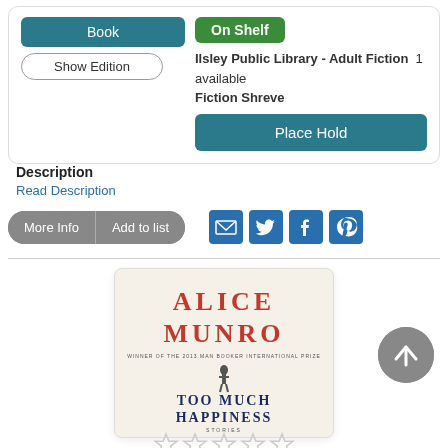[Figure (screenshot): Library catalog UI showing Book and Show Edition buttons, On Shelf badge, Ilsley Public Library Adult Fiction 1 available, Fiction Shreve, Place Hold button]
Description
Read Description
[Figure (screenshot): Action buttons: More Info, Add to list, and social share icons for email, Twitter, Facebook, Pinterest]
[Figure (photo): Book cover: Alice Munro - Too Much Happiness, Winner of the 2013 Man Booker International Prize, Stories]
[Figure (other): Scroll to top button (gray circle with upward arrow)]
[Figure (other): Star rating row (empty stars)]